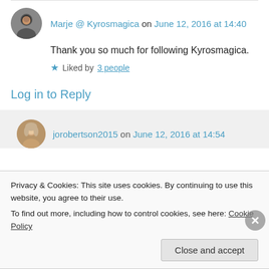Marje @ Kyrosmagica on June 12, 2016 at 14:40
Thank you so much for following Kyrosmagica.
★ Liked by 3 people
Log in to Reply
jorobertson2015 on June 12, 2016 at 14:54
Privacy & Cookies: This site uses cookies. By continuing to use this website, you agree to their use.
To find out more, including how to control cookies, see here: Cookie Policy
Close and accept